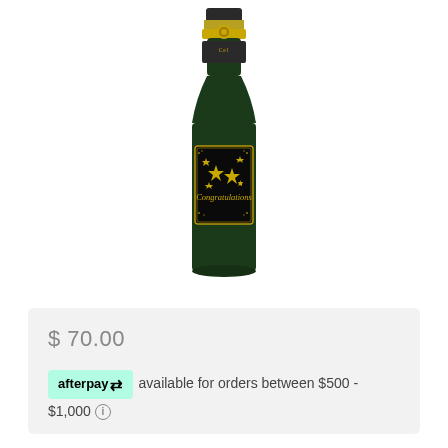[Figure (photo): A dark green champagne bottle with a gold and black label reading 'Congratulations' decorated with gold stars and swirls, and a gold foil top with a circular emblem.]
$ 70.00
afterpay  available for orders between $500 - $1,000 ℹ